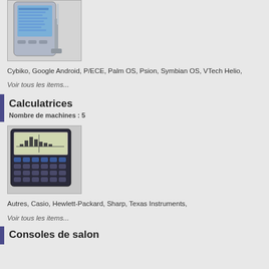[Figure (photo): Photo of a PDA/smartphone device (Palm OS style handheld) on a stand]
Cybiko, Google Android, P/ECE, Palm OS, Psion, Symbian OS, VTech Helio,
Voir tous les items...
Calculatrices
Nombre de machines : 5
[Figure (photo): Photo of a graphing calculator (Texas Instruments style) with keyboard and display showing a graph]
Autres, Casio, Hewlett-Packard, Sharp, Texas Instruments,
Voir tous les items...
Consoles de salon